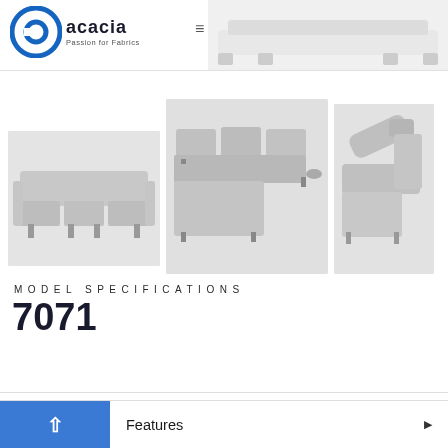Acacia – Passion for Fabrics
[Figure (photo): Acacia logo with blue circular icon and text 'acacia – Passion for Fabrics']
[Figure (photo): White modern sofa hero image in header area]
[Figure (photo): Three product photos of model 7071 sofa: front view flat, angled sectional with chaise, and side view with reclined headrest]
MODEL SPECIFICATIONS
7071
Dimensions and Weight
Features